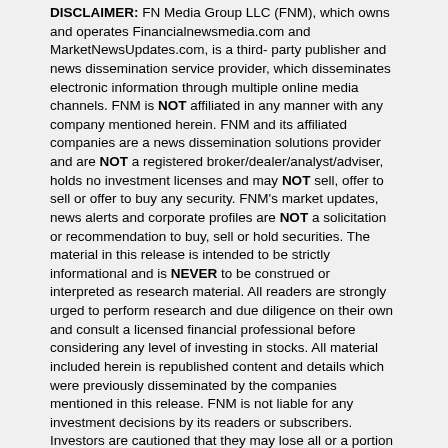DISCLAIMER: FN Media Group LLC (FNM), which owns and operates Financialnewsmedia.com and MarketNewsUpdates.com, is a third- party publisher and news dissemination service provider, which disseminates electronic information through multiple online media channels. FNM is NOT affiliated in any manner with any company mentioned herein. FNM and its affiliated companies are a news dissemination solutions provider and are NOT a registered broker/dealer/analyst/adviser, holds no investment licenses and may NOT sell, offer to sell or offer to buy any security. FNM's market updates, news alerts and corporate profiles are NOT a solicitation or recommendation to buy, sell or hold securities. The material in this release is intended to be strictly informational and is NEVER to be construed or interpreted as research material. All readers are strongly urged to perform research and due diligence on their own and consult a licensed financial professional before considering any level of investing in stocks. All material included herein is republished content and details which were previously disseminated by the companies mentioned in this release. FNM is not liable for any investment decisions by its readers or subscribers. Investors are cautioned that they may lose all or a portion of their investment when investing in stocks. For current services performed FNM was compensated forty six hundred dollars for news coverage of current press release issued by Item 9 Labs Corp. by the company. FNM HOLDS NO SHARES OF ANY COMPANY NAMED IN THIS RELEASE.